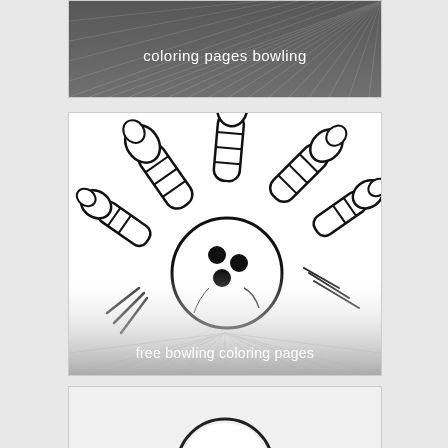[Figure (illustration): Black and white illustration with speed lines radiating from a dark background, labeled 'coloring pages bowling']
coloring pages bowling
[Figure (illustration): Black and white coloring page illustration of a bowling ball striking bowling pins, with the ball scattering pins in all directions. Bold outlines on white background with grey gradient at bottom. Labeled 'free bowling coloring pages']
free bowling coloring pages
[Figure (illustration): Partial view of another bowling coloring page, showing the top of a bowling ball at the bottom edge]